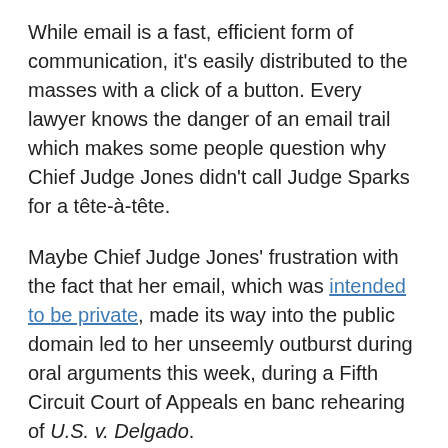While email is a fast, efficient form of communication, it's easily distributed to the masses with a click of a button. Every lawyer knows the danger of an email trail which makes some people question why Chief Judge Jones didn't call Judge Sparks for a tête-à-tête.
Maybe Chief Judge Jones' frustration with the fact that her email, which was intended to be private, made its way into the public domain led to her unseemly outburst during oral arguments this week, during a Fifth Circuit Court of Appeals en banc rehearing of U.S. v. Delgado.
Chief Judge Jones, apparently irritated that Judge James Dennis had spent seven minutes peppering the appellee with questions, interrupted Judge Dennis demanding that he give the other judges a chance to ask questions.
From the looks of the transcript that Above the Law created to document the spat, egos were raging in the Fifth Circuit